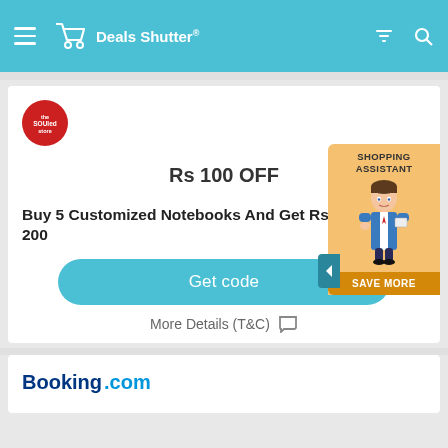Deals Shutter
[Figure (logo): The Souled Store circular red logo]
Rs 100 OFF
Buy 5 Customized Notebooks And Get Rs 200
Get code
More Details (T&C)
[Figure (illustration): Shopping Assistant cartoon figure with Save More button]
[Figure (logo): Booking.com logo]